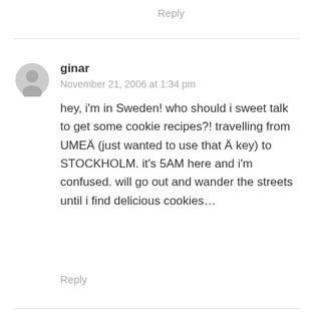Reply
ginar
November 21, 2006 at 1:34 pm
hey, i'm in Sweden! who should i sweet talk to get some cookie recipes?! travelling from UMEÄ (just wanted to use that Ä key) to STOCKHOLM. it's 5AM here and i'm confused. will go out and wander the streets until i find delicious cookies…
Reply